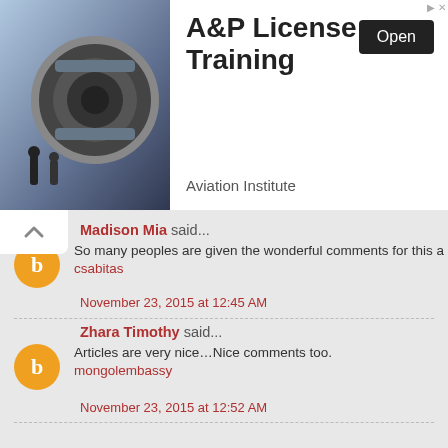[Figure (photo): Advertisement banner: photo of airplane jet engines with workers, with text 'A&P License Training', 'Aviation Institute', and 'Open' button]
Madison Mia said...
So many peoples are given the wonderful comments for this a csabitas
November 23, 2015 at 12:45 AM
Zhara Timothy said...
Articles are very nice…Nice comments too. mongolembassy
November 23, 2015 at 12:52 AM
nakchtra devi said...
Nice Post and all information's are used to everybody icma2012